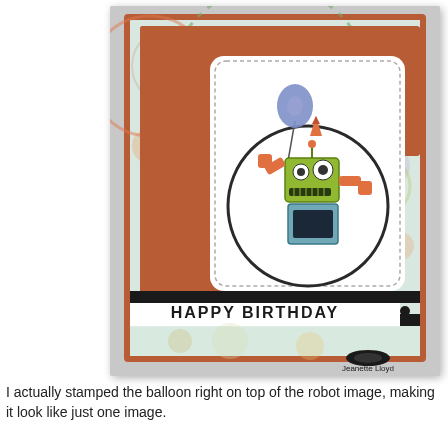[Figure (photo): A handmade birthday card featuring a cartoon robot holding a purple balloon, set within a circular frame on a patterned background with gears and circles. The card has a rust/terracotta border, black stripes, and 'HAPPY BIRTHDAY' text at the bottom. Photographer watermark reads 'Jeanette Lloyd'.]
I actually stamped the balloon right on top of the robot image, making it look like just one image.